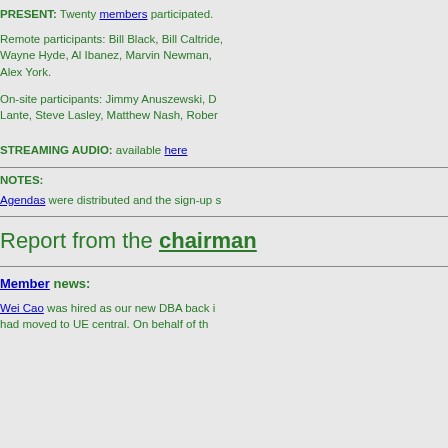PRESENT: Twenty members participated.
Remote participants: Bill Black, Bill Caltride, Wayne Hyde, Al Ibanez, Marvin Newman, Alex York.
On-site participants: Jimmy Anuszewski, D Lante, Steve Lasley, Matthew Nash, Rober
STREAMING AUDIO: available here
NOTES:
Agendas were distributed and the sign-up s
Report from the chairman
Member news:
Wei Cao was hired as our new DBA back i had moved to UE central. On behalf of th